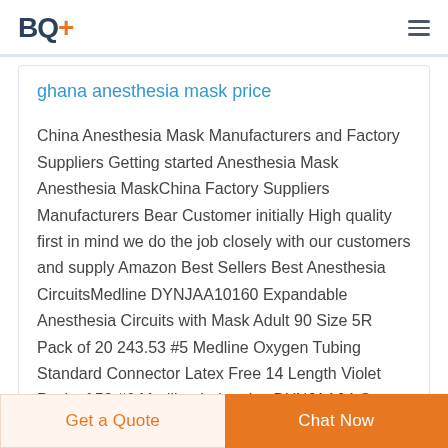BQ+
ghana anesthesia mask price
China Anesthesia Mask Manufacturers and Factory Suppliers Getting started Anesthesia Mask Anesthesia MaskChina Factory Suppliers Manufacturers Bear Customer initially High quality first in mind we do the job closely with our customers and supply Amazon Best Sellers Best Anesthesia CircuitsMedline DYNJAA10160 Expandable Anesthesia Circuits with Mask Adult 90 Size 5R Pack of 20 243.53 #5 Medline Oxygen Tubing Standard Connector Latex Free 14 Length Violet Pack of 50 #6 Medline Industries DYNJAA04 Gas Sampling Lines
Get a Quote
Chat Now